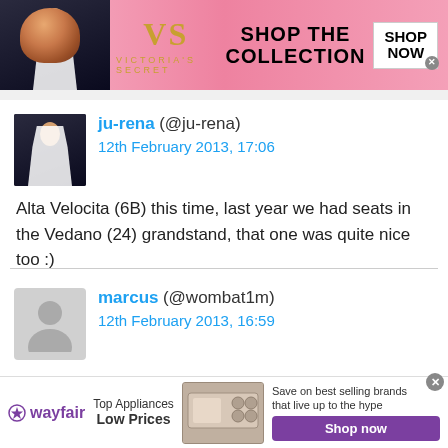[Figure (photo): Victoria's Secret banner advertisement with model, VS logo, 'Shop the Collection' text, and 'Shop Now' button]
ju-rena (@ju-rena)
12th February 2013, 17:06

Alta Velocita (6B) this time, last year we had seats in the Vedano (24) grandstand, that one was quite nice too :)
marcus (@wombat1m)
12th February 2013, 16:59

Off to Melbourne for the season opener, wishes, and
[Figure (photo): Wayfair advertisement: Top Appliances Low Prices with stove image and Shop now button]